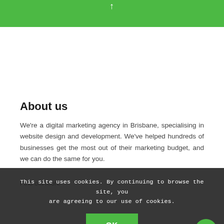↑
About us
We're a digital marketing agency in Brisbane, specialising in website design and development. We've helped hundreds of businesses get the most out of their marketing budget, and we can do the same for you.
Find out more
This site uses cookies. By continuing to browse the site, you are agreeing to our use of cookies.
OK